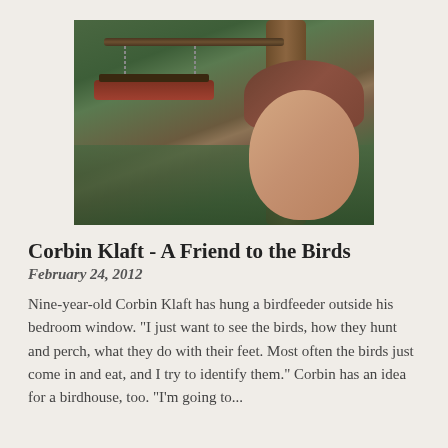[Figure (photo): A young boy (around nine years old) with brown hair peeking out from behind a bird feeder hanging on a tree, surrounded by ivy and green foliage.]
Corbin Klaft - A Friend to the Birds
February 24, 2012
Nine-year-old Corbin Klaft has hung a birdfeeder outside his bedroom window. "I just want to see the birds, how they hunt and perch, what they do with their feet. Most often the birds just come in and eat, and I try to identify them." Corbin has an idea for a birdhouse, too. "I'm going to...